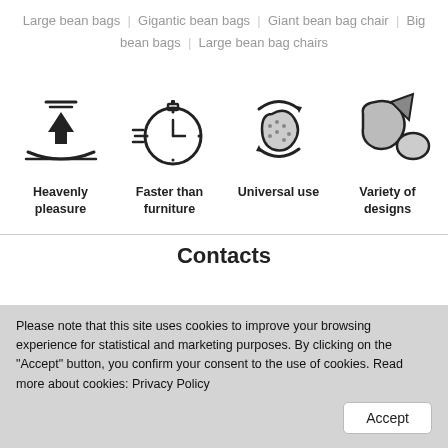Large bean bags | Gigantic bean bags | Giant bean bag chair | Big bean bags | Large bean bag chairs
[Figure (illustration): Four icons in a row: 1) A downward arrow pressing into a curved surface (Heavenly pleasure), 2) A stopwatch with speed lines (Faster than furniture), 3) A bean bag chair with circular arrows indicating rotation/versatility (Universal use), 4) Two bean bag shapes in grey (Variety of designs)]
Heavenly pleasure
Faster than furniture
Universal use
Variety of designs
Contacts
Please note that this site uses cookies to improve your browsing experience for statistical and marketing purposes. By clicking on the "Accept" button, you confirm your consent to the use of cookies. Read more about cookies: Privacy Policy